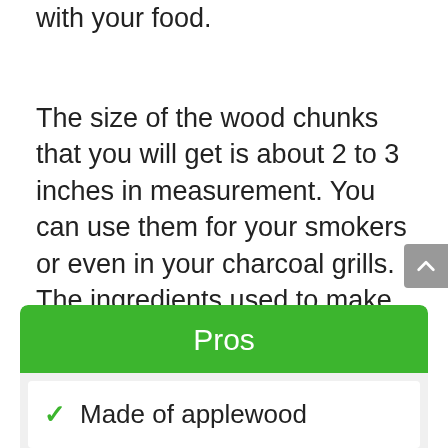a delicate smokey flavor that will taste the best with your food.
The size of the wood chunks that you will get is about 2 to 3 inches in measurement. You can use them for your smokers or even in your charcoal grills. The ingredients used to make these products are all-natural, and there is no added chemical to it. It is also safe for your health as it was treated with pesticides before storing it.
Pros
Made of applewood